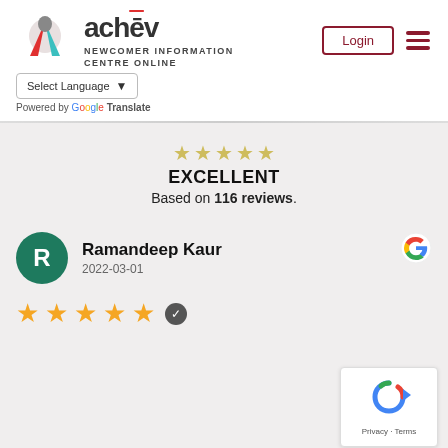[Figure (logo): achev Newcomer Information Centre Online logo with stylized A icon in red and teal]
Select Language ▾
Powered by Google Translate
Login
EXCELLENT
Based on 116 reviews.
Ramandeep Kaur
2022-03-01
[Figure (logo): Google G logo icon]
[Figure (other): Five gold star rating with verified badge]
[Figure (other): reCAPTCHA badge bottom right with Privacy - Terms text]